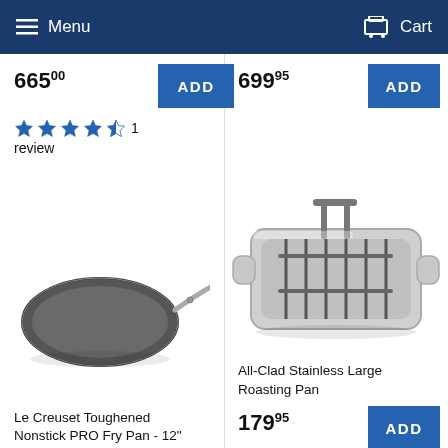Menu | Cart
665.00
ADD
699.95
ADD
4.5 stars, 1 review
[Figure (photo): Le Creuset Toughened Nonstick PRO Fry Pan, dark grey, with stainless steel handle]
Le Creuset Toughened Nonstick PRO Fry Pan - 12"
[Figure (photo): All-Clad Stainless Large Roasting Pan with rack and handles]
All-Clad Stainless Large Roasting Pan
179.95
ADD